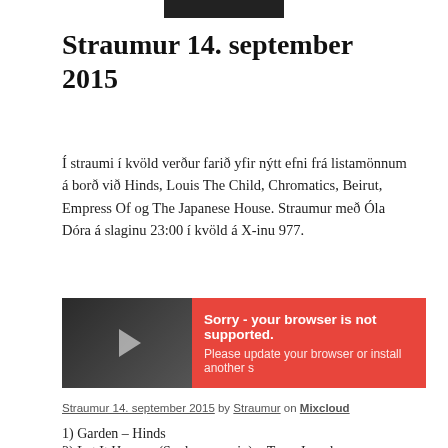[Figure (photo): Partial top image, dark/black cropped photograph]
Straumur 14. september 2015
Í straumi í kvöld verður farið yfir nýtt efni frá listamönnum á borð við Hinds, Louis The Child, Chromatics, Beirut, Empress Of og The Japanese House. Straumur með Óla Dóra á slaginu 23:00 í kvöld á X-inu 977.
[Figure (screenshot): Embedded media player with dark background on left showing play button, and red panel on right reading 'Sorry - your browser is not supported. Please update your browser or install another s']
Straumur 14. september 2015 by Straumur on Mixcloud
1) Garden – Hinds
2) Let It Happen (Soulwax remix) – Tame Impala
3) It's Strange (ft. K.Flay) – Louis The Child